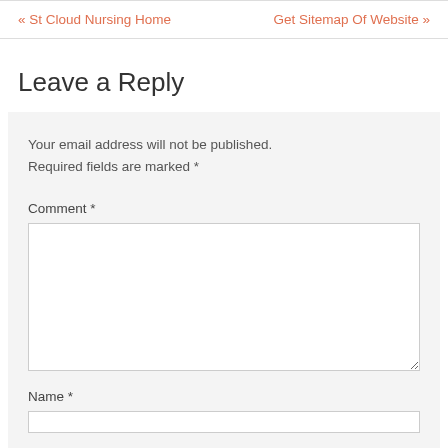« St Cloud Nursing Home   Get Sitemap Of Website »
Leave a Reply
Your email address will not be published. Required fields are marked *
Comment *
Name *